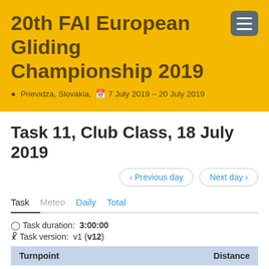20th FAI European Gliding Championship 2019
Prievidza, Slovakia,  7 July 2019 – 20 July 2019
Task 11, Club Class, 18 July 2019
< Previous day   Next day >
Task   Meteo   Daily   Total
Task duration:  3:00:00
Task version:  v1 (v12)
| Turnpoint | Distance |
| --- | --- |